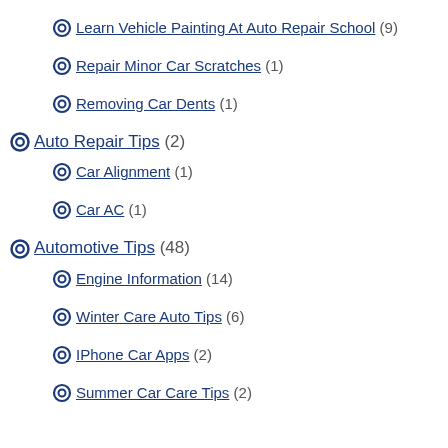Learn Vehicle Painting At Auto Repair School (9)
Repair Minor Car Scratches (1)
Removing Car Dents (1)
Auto Repair Tips (2)
Car Alignment (1)
Car AC (1)
Automotive Tips (48)
Engine Information (14)
Winter Care Auto Tips (6)
IPhone Car Apps (2)
Summer Car Care Tips (2)